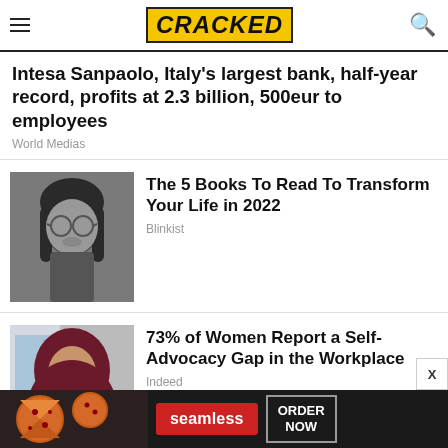CRACKED
Intesa Sanpaolo, Italy's largest bank, half-year record, profits at 2.3 billion, 500eur to employees
World Medias
[Figure (photo): Black and white portrait photo of a young man with long hair and round glasses]
The 5 Books To Read To Transform Your Life in 2022
Blinkist
[Figure (photo): Color photo of a woman wearing a hijab and glasses, gesturing with her hands]
73% of Women Report a Self-Advocacy Gap in the Workplace
Indeed
[Figure (infographic): Advertisement banner for Seamless food ordering service with pizza image, Seamless logo, and ORDER NOW button]